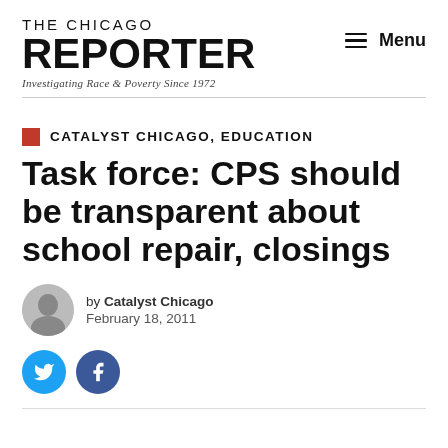THE CHICAGO REPORTER — Investigating Race & Poverty Since 1972
CATALYST CHICAGO, EDUCATION
Task force: CPS should be transparent about school repair, closings
by Catalyst Chicago
February 18, 2011